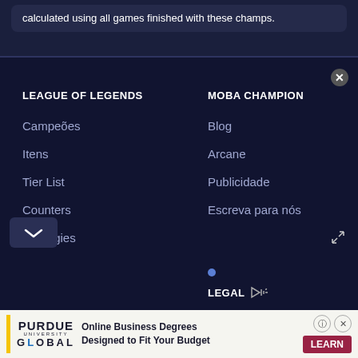calculated using all games finished with these champs.
LEAGUE OF LEGENDS
Campeões
Itens
Tier List
Counters
Synergies
MOBA CHAMPION
Blog
Arcane
Publicidade
Escreva para nós
LEGAL
[Figure (screenshot): Advertisement banner for Purdue University Global - Online Business Degrees Designed to fit your budget with Learn button]